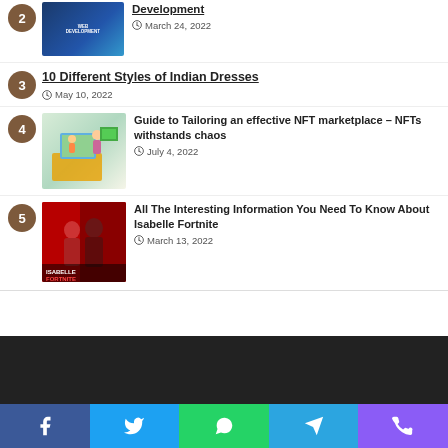Development — March 24, 2022
10 Different Styles of Indian Dresses — May 10, 2022
Guide to Tailoring an effective NFT marketplace – NFTs withstands chaos — July 4, 2022
All The Interesting Information You Need To Know About Isabelle Fortnite — March 13, 2022